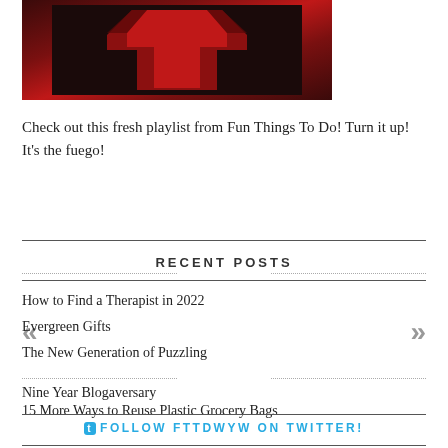[Figure (photo): Dark image of a red cross or shirt design on a dark background]
Check out this fresh playlist from Fun Things To Do! Turn it up! It's the fuego!
RECENT POSTS
How to Find a Therapist in 2022
Evergreen Gifts
The New Generation of Puzzling
Nine Year Blogaversary
15 More Ways to Reuse Plastic Grocery Bags
FOLLOW FTTDWYW ON TWITTER!